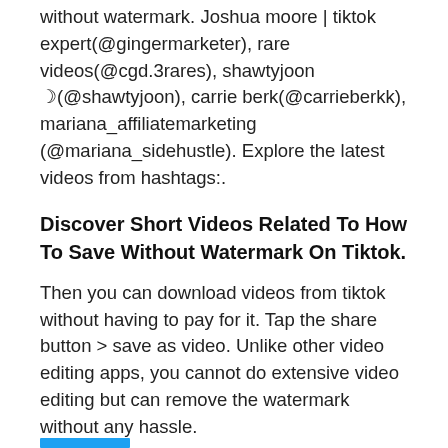without watermark. Joshua moore | tiktok expert(@gingermarketer), rare videos(@cgd.3rares), shawtyjoon ☽(@shawtyjoon), carrie berk(@carrieberkk), mariana_affiliatemarketing (@mariana_sidehustle). Explore the latest videos from hashtags:.
Discover Short Videos Related To How To Save Without Watermark On Tiktok.
Then you can download videos from tiktok without having to pay for it. Tap the share button > save as video. Unlike other video editing apps, you cannot do extensive video editing but can remove the watermark without any hassle.